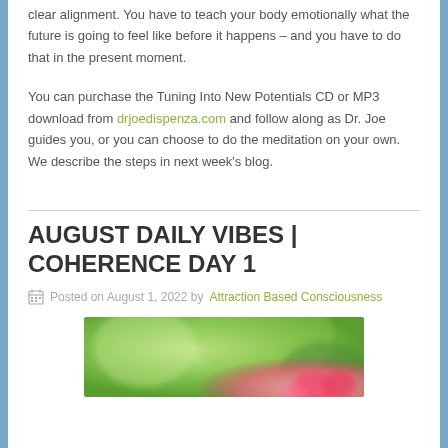clear alignment. You have to teach your body emotionally what the future is going to feel like before it happens – and you have to do that in the present moment.
You can purchase the Tuning Into New Potentials CD or MP3 download from drjoedispenza.com and follow along as Dr. Joe guides you, or you can choose to do the meditation on your own. We describe the steps in next week's blog.
AUGUST DAILY VIBES | COHERENCE DAY 1
Posted on August 1, 2022 by Attraction Based Consciousness
[Figure (photo): Blurred background photo with green bokeh and pink flowers at the bottom right corner]